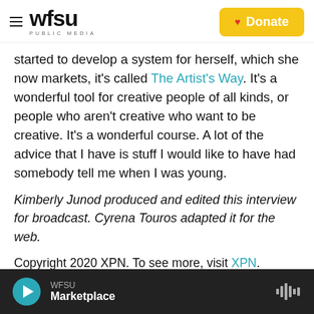WFSU PUBLIC MEDIA | Donate
started to develop a system for herself, which she now markets, it's called The Artist's Way. It's a wonderful tool for creative people of all kinds, or people who aren't creative who want to be creative. It's a wonderful course. A lot of the advice that I have is stuff I would like to have had somebody tell me when I was young.
Kimberly Junod produced and edited this interview for broadcast. Cyrena Touros adapted it for the web.
Copyright 2020 XPN. To see more, visit XPN.
WFSU Marketplace